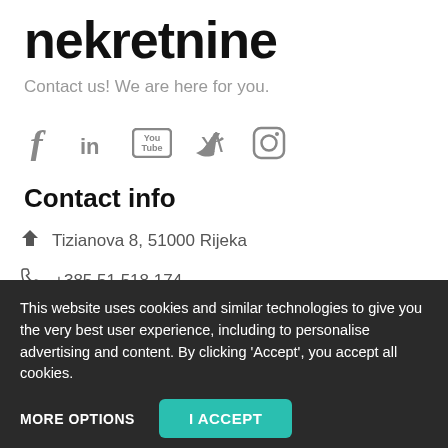nekretnine
Contact us! We are here for you.
[Figure (other): Social media icons: Facebook, LinkedIn, YouTube, Twitter, Instagram]
Contact info
Tizianova 8, 51000 Rijeka
+385 51 518 174
This website uses cookies and similar technologies to give you the very best user experience, including to personalise advertising and content. By clicking ‘Accept’, you accept all cookies.
MORE OPTIONS   I ACCEPT